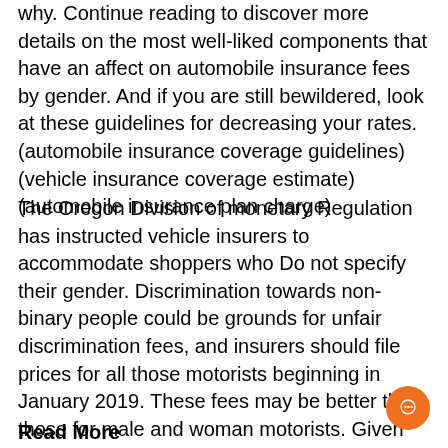why. Continue reading to discover more details on the most well-liked components that have an affect on automobile insurance fees by gender. And if you are still bewildered, look at these guidelines for decreasing your rates.(automobile insurance coverage guidelines)(vehicle insurance coverage estimate)(automobile insurance plan charge)
The Oregon Division of monetary Regulation has instructed vehicle insurers to accommodate shoppers who Do not specify their gender. Discrimination towards non-binary people could be grounds for unfair discrimination fees, and insurers should file prices for all those motorists beginning in January 2019. These fees may be better than those for male and woman motorists. Given that they are not too much, Women of all ages can lower your expenses. Also, Don't fret regarding the “non-binary” fee for young drivers. (car insurance policy declare)(hole coverage)(car coverage)
Read More